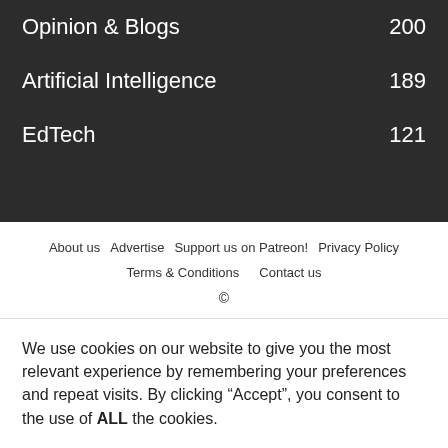Opinion & Blogs  200
Artificial Intelligence  189
EdTech  121
About us  Advertise  Support us on Patreon!  Privacy Policy  Terms & Conditions  Contact us  ©
We use cookies on our website to give you the most relevant experience by remembering your preferences and repeat visits. By clicking “Accept”, you consent to the use of ALL the cookies.
.
Cookie settings  ACCEPT